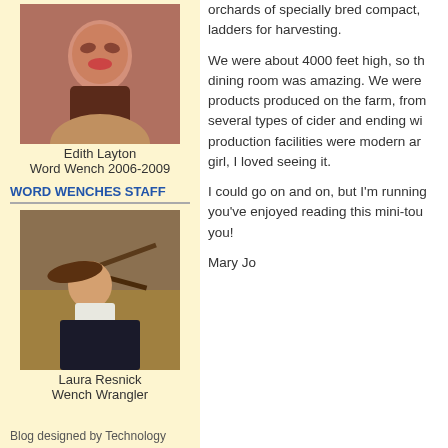[Figure (photo): Photo of Edith Layton, a woman with red hair smiling]
Edith Layton
Word Wench 2006-2009
WORD WENCHES STAFF
[Figure (photo): Photo of Laura Resnick in a hat, outdoors in a dig or cave setting]
Laura Resnick
Wench Wrangler
Blog designed by Technology
orchards of specially bred compact, ladders for harvesting.
We were about 4000 feet high, so th dining room was amazing. We were products produced on the farm, from several types of cider and ending wi production facilities were modern ar girl, I loved seeing it.
I could go on and on, but I'm running you've enjoyed reading this mini-tou you!
Mary Jo